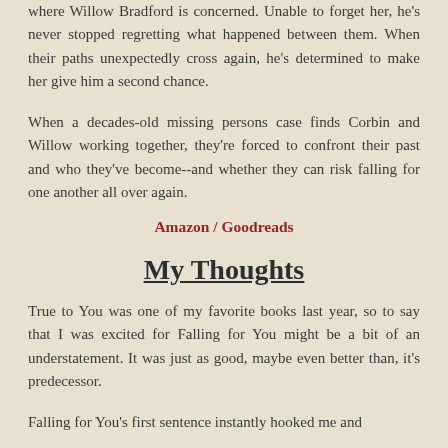where Willow Bradford is concerned. Unable to forget her, he's never stopped regretting what happened between them. When their paths unexpectedly cross again, he's determined to make her give him a second chance.
When a decades-old missing persons case finds Corbin and Willow working together, they're forced to confront their past and who they've become--and whether they can risk falling for one another all over again.
Amazon / Goodreads
My Thoughts
True to You was one of my favorite books last year, so to say that I was excited for Falling for You might be a bit of an understatement. It was just as good, maybe even better than, it's predecessor.
Falling for You's first sentence instantly hooked me and